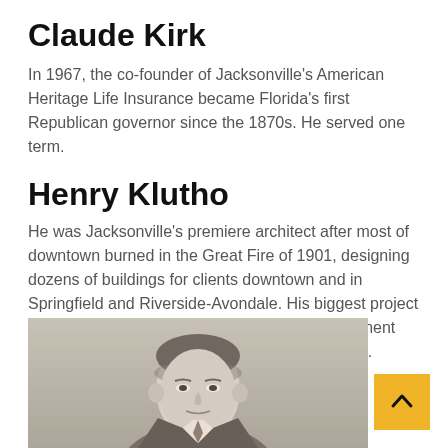Claude Kirk
In 1967, the co-founder of Jacksonville's American Heritage Life Insurance became Florida's first Republican governor since the 1870s. He served one term.
Henry Klutho
He was Jacksonville's premiere architect after most of downtown burned in the Great Fire of 1901, designing dozens of buildings for clients downtown and in Springfield and Riverside-Avondale. His biggest project was the St. James Building, a four-story department store that became Jacksonville City Hall in 1997.
[Figure (photo): Black and white photograph of Henry Klutho, showing his head and upper body, in a historical portrait style.]